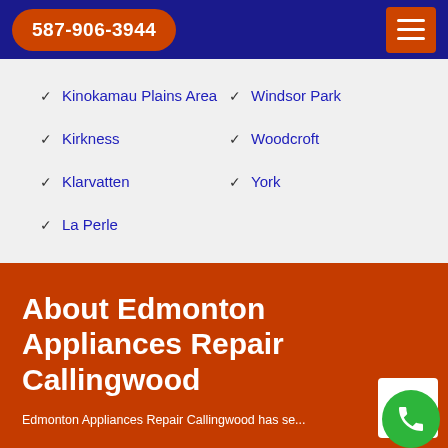587-906-3944
Kinokamau Plains Area
Kirkness
Klarvatten
La Perle
Windsor Park
Woodcroft
York
About Edmonton Appliances Repair Callingwood
Edmonton Appliances Repair Callingwood has se...